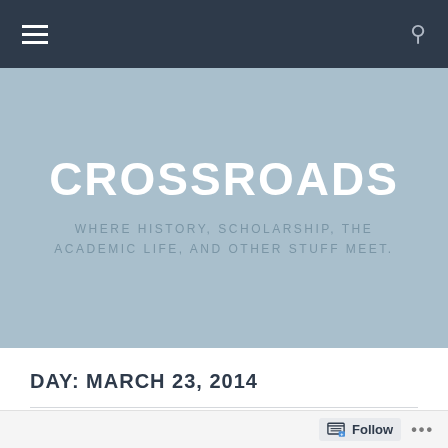Navigation bar with hamburger menu and search icon
CROSSROADS
WHERE HISTORY, SCHOLARSHIP, THE ACADEMIC LIFE, AND OTHER STUFF MEET.
DAY: MARCH 23, 2014
Learning to Read...